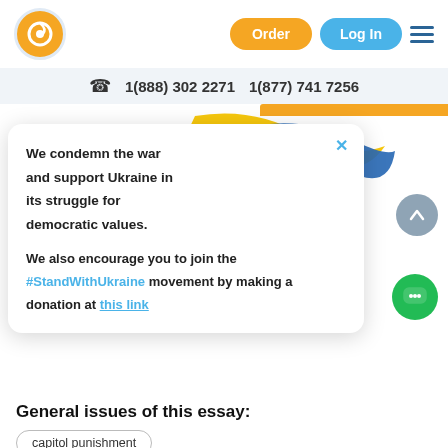Order  Log In
1(888) 302 2271   1(877) 741 7256
[Figure (illustration): Ukraine flag ribbon SVG decoration]
We condemn the war and support Ukraine in its struggle for democratic values.

We also encourage you to join the #StandWithUkraine movement by making a donation at this link
ower class citizens, against their "speak well of the " (68). The fact is, that capital punishm s
General issues of this essay:
capitol punishment
Analysis of Charles Dickens' Writing Style in the Tale of Two